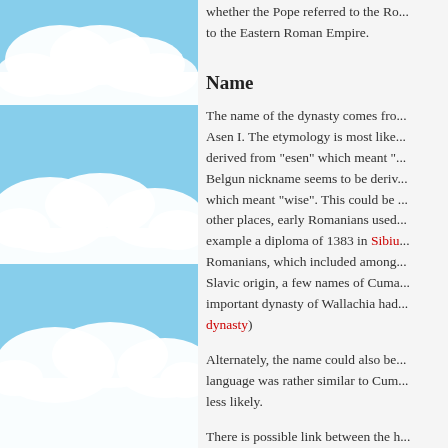[Figure (illustration): Blue sky with white fluffy clouds illustration on the left panel]
whether the Pope referred to the Ro... to the Eastern Roman Empire.
Name
The name of the dynasty comes fro... Asen I. The etymology is most like... derived from "esen" which meant "... Belgun nickname seems to be deriv... which meant "wise". This could be ... other places, early Romanians used... example a diploma of 1383 in Sibiu... Romanians, which included among... Slavic origin, a few names of Cuma... important dynasty of Wallachia had... dynasty)
Alternately, the name could also be... language was rather similar to Cum... less likely.
There is possible link between the h... Arabic name Hassan. There is evide... Turkic origin coming from the Prot... Turkic origin. Therefore both the A... popular in the Turkic speaking nati... Assan and the Bulgarian name Asse... same origin. See Hassan (given na...